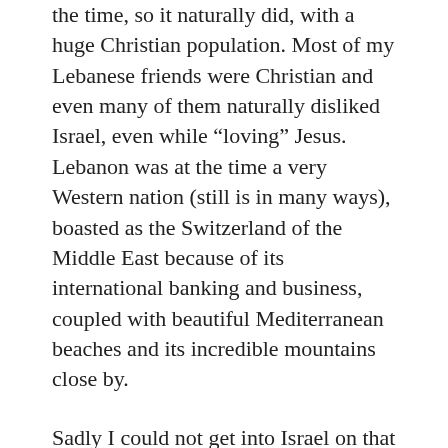the time, so it naturally did, with a huge Christian population. Most of my Lebanese friends were Christian and even many of them naturally disliked Israel, even while “loving” Jesus. Lebanon was at the time a very Western nation (still is in many ways), boasted as the Switzerland of the Middle East because of its international banking and business, coupled with beautiful Mediterranean beaches and its incredible mountains close by.
Sadly I could not get into Israel on that trip. The next time I found myself in the Middle East I was more deliberate. I took a flight from UAE into Jordan (there were no direct flights at the time from UAE into Israel — that was against their laws) and traveled to the border in Amman. We stood in line with an American Christian missionary serving in Syria and he coached us on what to tell the Israeli border patrol. He told us to make sure to ask them nicely to NOT stamp our passports or we may not be able to return to other Middle Eastern nations. If Syria for example, sees that your passport